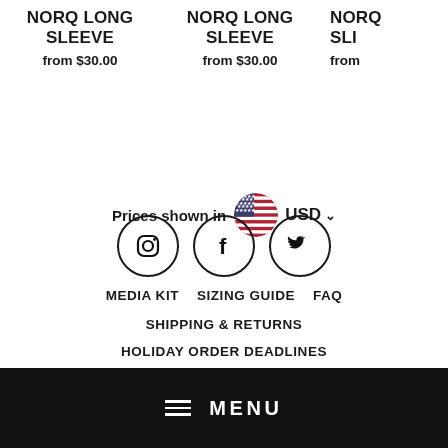NORQ LONG SLEEVE
from $30.00
NORQ LONG SLEEVE
from $30.00
NORQ SLI
from
Prices shown in USD
[Figure (illustration): Three social media icons in circles: Instagram, Facebook, Twitter]
MEDIA KIT   SIZING GUIDE   FAQ
SHIPPING & RETURNS
HOLIDAY ORDER DEADLINES
MENU